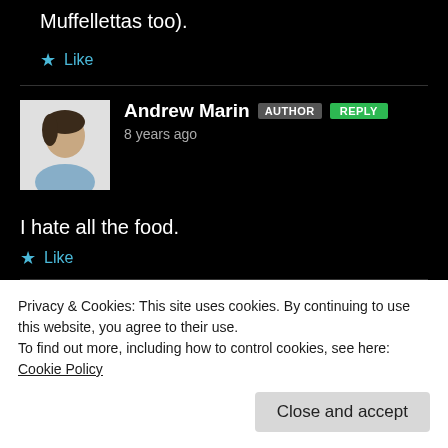Muffellettas too).
★ Like
Andrew Marin AUTHOR REPLY
8 years ago
I hate all the food.
★ Like
Mike Thiac REPLY
Privacy & Cookies: This site uses cookies. By continuing to use this website, you agree to their use.
To find out more, including how to control cookies, see here: Cookie Policy
Close and accept
Wal-Mart at 1am on Sunday